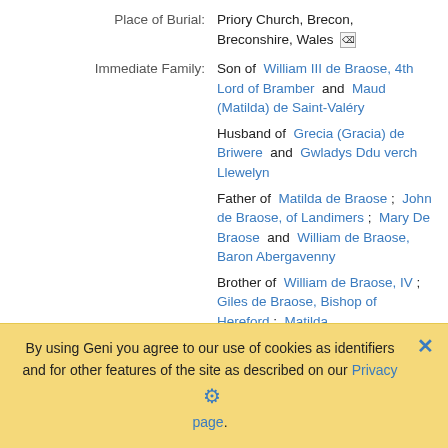Place of Burial: Priory Church, Brecon, Breconshire, Wales
Immediate Family: Son of William III de Braose, 4th Lord of Bramber and Maud (Matilda) de Saint-Valéry; Husband of Grecia (Gracia) de Briwere and Gwladys Ddu verch Llewelyn; Father of Matilda de Braose ; John de Braose, of Landimers ; Mary De Braose and William de Braose, Baron Abergavenny; Brother of William de Braose, IV ; Giles de Braose, Bishop of Hereford ; Matilda
By using Geni you agree to our use of cookies as identifiers and for other features of the site as described on our Privacy page.